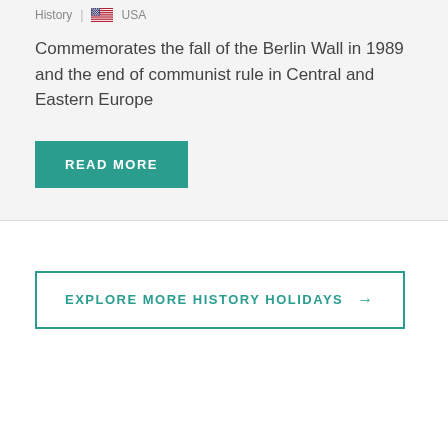History | USA
Commemorates the fall of the Berlin Wall in 1989 and the end of communist rule in Central and Eastern Europe
READ MORE
EXPLORE MORE HISTORY HOLIDAYS →